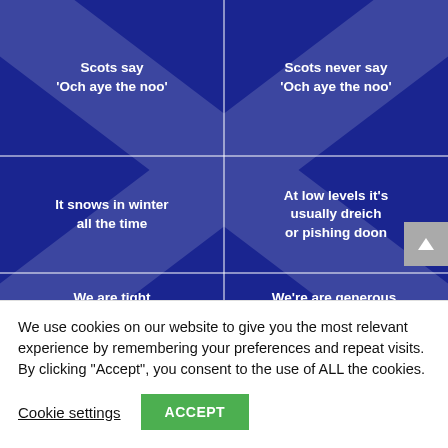[Figure (illustration): Blue background Scottish grid graphic with two columns and three rows separated by white lines. Left column header: 'Scots say \u2018Och aye the noo\u2019', Right column header: 'Scots never say \u2018Och aye the noo\u2019'. Second row left: 'It snows in winter all the time', Second row right: 'At low levels it\u2019s usually dreich or pishing doon'. Third row left: 'We are tight with money', Third row right: 'We\u2019re are generous, funny and sexy!'. Branded 'Being Scottish' in bottom right.]
[Figure (photo): Dark reddish-brown image strip showing vertical lines/slats, partial view only.]
We use cookies on our website to give you the most relevant experience by remembering your preferences and repeat visits. By clicking “Accept”, you consent to the use of ALL the cookies.
Cookie settings
ACCEPT